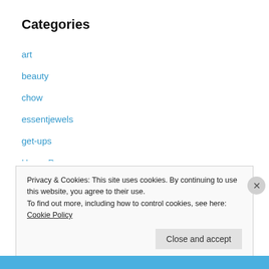Categories
art
beauty
chow
essentjewels
get-ups
Home Decor
outings
the little things
thoughts and things
trends
Privacy & Cookies: This site uses cookies. By continuing to use this website, you agree to their use.
To find out more, including how to control cookies, see here: Cookie Policy
Close and accept